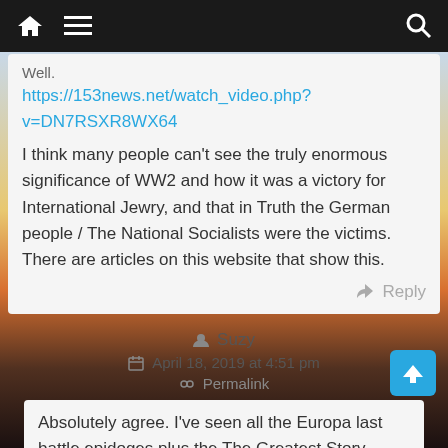Navigation bar with home, menu, and search icons
Well.
https://153news.net/watch_video.php?v=DN7RSXR8WX64
I think many people can't see the truly enormous significance of WW2 and how it was a victory for International Jewry, and that in Truth the German people / The National Socialists were the victims. There are articles on this website that show this.
Reply
Suzy
April 18, 2019 at 4:51 pm
Permalink
Absolutely agree. I've seen all the Europa last battle epidoges plus the The Greatest Story